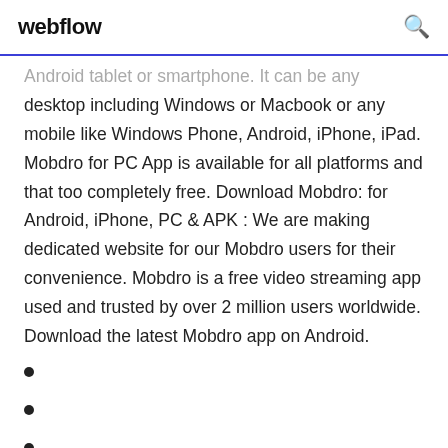webflow
Android tablet or smartphone. It can be any desktop including Windows or Macbook or any mobile like Windows Phone, Android, iPhone, iPad. Mobdro for PC App is available for all platforms and that too completely free. Download Mobdro: for Android, iPhone, PC & APK : We are making dedicated website for our Mobdro users for their convenience. Mobdro is a free video streaming app used and trusted by over 2 million users worldwide. Download the latest Mobdro app on Android.